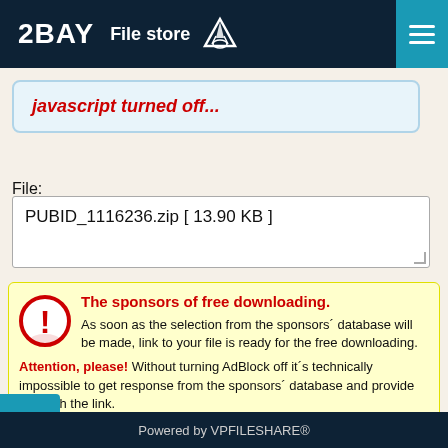2BAY File store
javascript turned off...
File:
PUBID_1116236.zip [ 13.90 KB ]
The sponsors of free downloading. As soon as the selection from the sponsors´ database will be made, link to your file is ready for the free downloading. Attention, please! Without turning AdBlock off it´s technically impossible to get response from the sponsors´ database and provide you with the link.
Powered by VPFILESHARE®